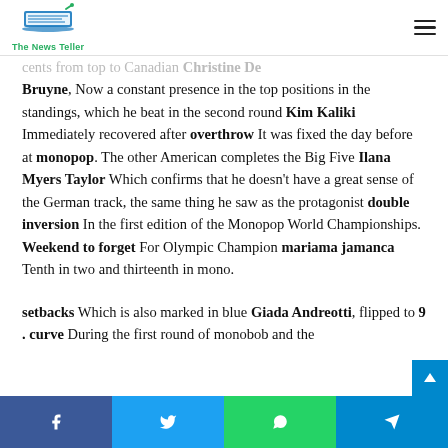The News Teller
cents from top to Canadian Christine De Bruyne, Now a constant presence in the top positions in the standings, which he beat in the second round Kim Kaliki Immediately recovered after overthrow It was fixed the day before at monopop. The other American completes the Big Five Ilana Myers Taylor Which confirms that he doesn't have a great sense of the German track, the same thing he saw as the protagonist double inversion In the first edition of the Monopop World Championships. Weekend to forget For Olympic Champion mariama jamanca Tenth in two and thirteenth in mono.
setbacks Which is also marked in blue Giada Andreotti, flipped to 9 . curve During the first round of monobob and the
f  |  (Twitter icon)  |  (WhatsApp icon)  |  (Telegram icon)